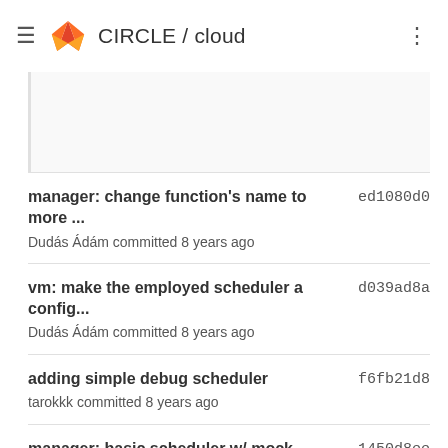CIRCLE / cloud
manager: change function's name to more ... ed1080d0
Dudás Ádám committed 8 years ago
vm: make the employed scheduler a config... d039ad8a
Dudás Ádám committed 8 years ago
adding simple debug scheduler f6fb21d8
tarokkk committed 8 years ago
manager: basic scheduler w/ mock monitor... 1450d8ee
Dudás Ádám committed 8 years ago